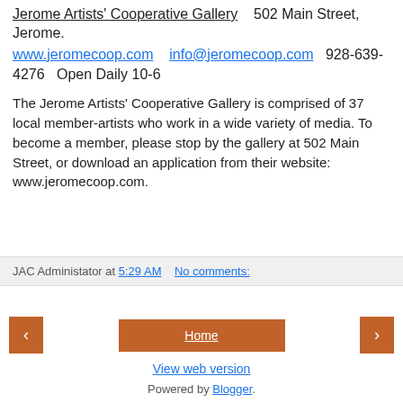Jerome Artists' Cooperative Gallery    502 Main Street, Jerome.
www.jeromecoop.com    info@jeromecoop.com    928-639-4276    Open Daily 10-6
The Jerome Artists' Cooperative Gallery is comprised of 37 local member-artists who work in a wide variety of media. To become a member, please stop by the gallery at 502 Main Street, or download an application from their website: www.jeromecoop.com.
JAC Administator at 5:29 AM    No comments:
‹    Home    ›
View web version
Powered by Blogger.